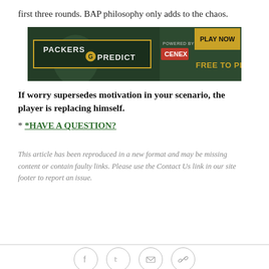first three rounds. BAP philosophy only adds to the chaos.
[Figure (illustration): Packers Predict advertisement banner powered by Cenex. Green background with player image. Text: PACKERS PREDICT, POWERED BY CENEX, PLAY NOW, FREE TO PLAY]
If worry supersedes motivation in your scenario, the player is replacing himself.
* *HAVE A QUESTION?
This article has been reproduced in a new format and may be missing content or contain faulty links. Please use the Contact Us link in our site footer to report an issue.